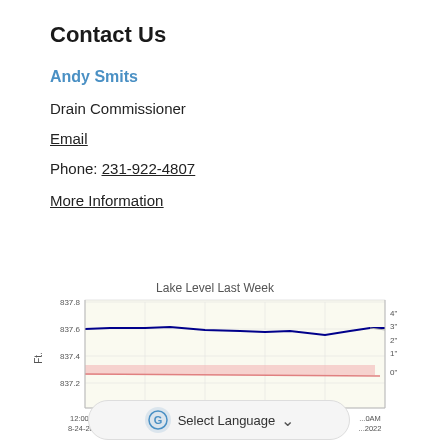Contact Us
Andy Smits
Drain Commissioner
Email
Phone: 231-922-4807
More Information
[Figure (continuous-plot): Line chart showing lake level in feet over the last week from 8-24-2022 to 8-30-2022. Y-axis ranges from 837.2 to 837.8 ft. A blue line hovers around 837.6 ft throughout the week. A pink shaded band appears around 837.3-837.4 ft indicating a reference range. A secondary y-axis on the right shows markings 0" to 4".]
Select Language